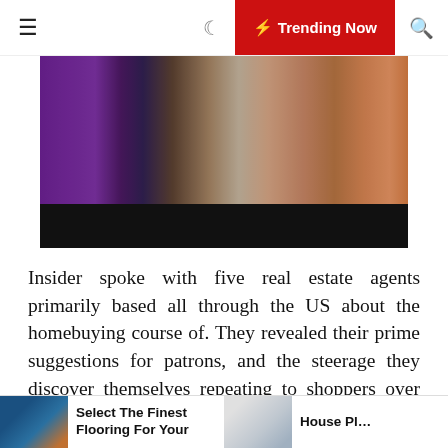≡  ☾  ⚡ Trending Now  🔍
[Figure (photo): A photo showing people (adults and a baby) at a table with colorful blocks visible in the background, with a dark/black band at the bottom of the image.]
Insider spoke with five real estate agents primarily based all through the US about the homebuying course of. They revealed their prime suggestions for patrons, and the steerage they discover themselves repeating to shoppers over and over again. The first step in the sale of your own home is to know what your house could be worth. Then, join with an affiliated Better Homes and Gardens® Real Estate agent in your native market to profit from their expertise, instruments, technology, data and unique marketing approaches to cost and market your own home to sell. Connect with a Better Homes and Gardens® Real Estate agent near you. Established in 1974, McColly Real
Select The Finest Flooring For Your
House Pl…